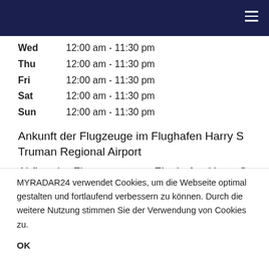Navigation bar with hamburger menu
Wed   12:00 am - 11:30 pm
Thu   12:00 am - 11:30 pm
Fri   12:00 am - 11:30 pm
Sat   12:00 am - 11:30 pm
Sun   12:00 am - 11:30 pm
Ankunft der Flugzeuge im Flughafen Harry S Truman Regional Airport
Abflug der Flugzeuge vom Flughafen Harry S Truman Regional Airport
MYRADAR24 verwendet Cookies, um die Webseite optimal gestalten und fortlaufend verbessern zu können. Durch die weitere Nutzung stimmen Sie der Verwendung von Cookies zu.
OK